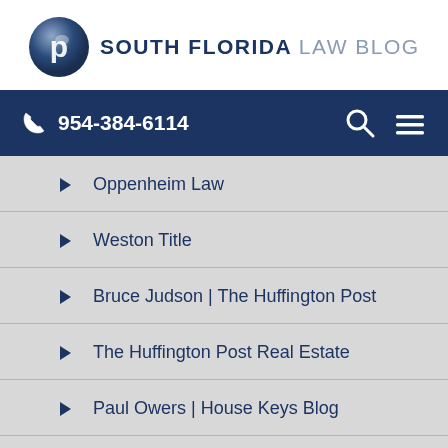[Figure (logo): South Florida Law Blog logo with dark blue circle with letter P and text SOUTH FLORIDA LAW BLOG]
954-384-6114
Oppenheim Law
Weston Title
Bruce Judson | The Huffington Post
The Huffington Post Real Estate
Paul Owers | House Keys Blog
Harriet J. Bracken | It's Your Money